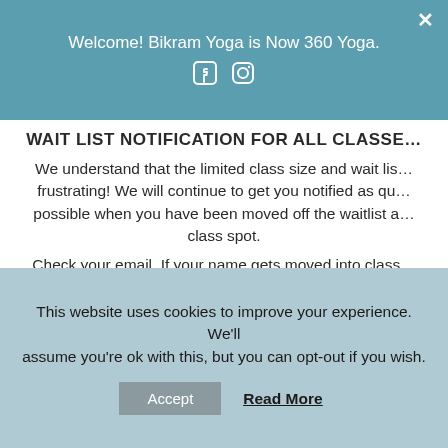Welcome! Bikram Yoga is Now 360 Yoga.
WAIT LIST NOTIFICATION FOR ALL CLASSES
We understand that the limited class size and wait list can be frustrating! We will continue to get you notified as quickly as possible when you have been moved off the waitlist and into a class spot.
Check your email. If your name gets moved into class you will receive an email notice.
Or, if you have the MindBody App, that is the best and easiest way to see your wait list status. Download it on your phone for signing up, cancelling, checking your status, and account information.
Also, you may text or call 843.884.3737 to ask about your status.
CANCELLING YOUR RESERVATION
This website uses cookies to improve your experience. We'll assume you're ok with this, but you can opt-out if you wish.